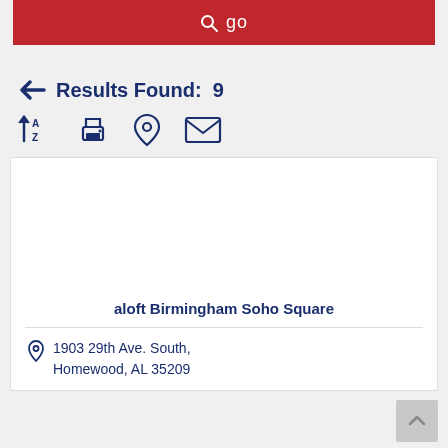[Figure (screenshot): Red search button with magnifying glass icon and 'go' label]
Results Found: 9
[Figure (infographic): Toolbar icons: A-Z sort, print, location pin, email]
aloft Birmingham Soho Square
1903 29th Ave. South, Homewood, AL 35209